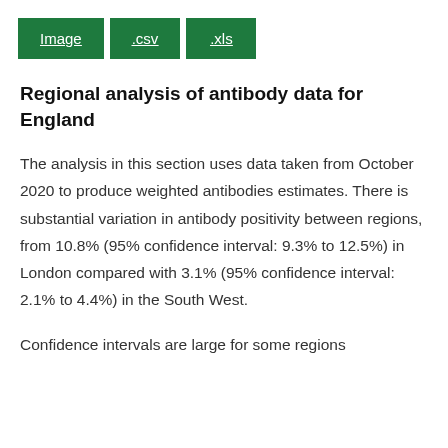[Figure (other): Three green button links labeled 'Image', '.csv', and '.xls']
Regional analysis of antibody data for England
The analysis in this section uses data taken from October 2020 to produce weighted antibodies estimates. There is substantial variation in antibody positivity between regions, from 10.8% (95% confidence interval: 9.3% to 12.5%) in London compared with 3.1% (95% confidence interval: 2.1% to 4.4%) in the South West.
Confidence intervals are large for some regions